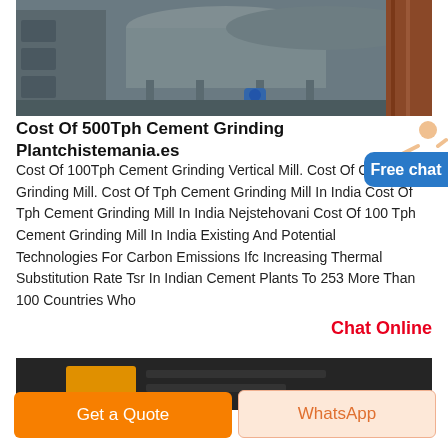[Figure (photo): Industrial cement grinding plant machinery — large cylindrical mill and metal structures in a factory setting, photographed from ground level]
Cost Of 500Tph Cement Grinding Plantchistemania.es
Cost Of 100Tph Cement Grinding Vertical Mill. Cost Of Cement Grinding Mill. Cost Of Tph Cement Grinding Mill In India Cost Of Tph Cement Grinding Mill In India Nejstehovani Cost Of 100 Tph Cement Grinding Mill In India Existing And Potential Technologies For Carbon Emissions Ifc Increasing Thermal Substitution Rate Tsr In Indian Cement Plants To 253 More Than 100 Countries Who
Chat Online
[Figure (photo): Close-up of industrial machinery, dark coloured with orange/yellow element visible]
Get a Quote
WhatsApp